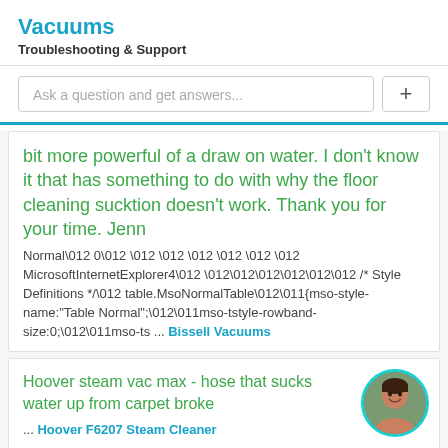Vacuums
Troubleshooting & Support
Ask a question and get answers...
bit more powerful of a draw on water. I don't know it that has something to do with why the floor cleaning sucktion doesn't work. Thank you for your time. Jenn
Normal\012 0\012 \012 \012 \012 \012 \012 \012 MicrosoftInternetExplorer4\012 \012\012\012\012\012\012 /* Style Definitions */\012 table.MsoNormalTable\012\011{mso-style-name:"Table Normal";\012\011mso-tstyle-rowband-size:0;\012\011mso-ts ... Bissell Vacuums
Hoover steam vac max - hose that sucks water up from carpet broke
... Hoover F6207 Steam Cleaner